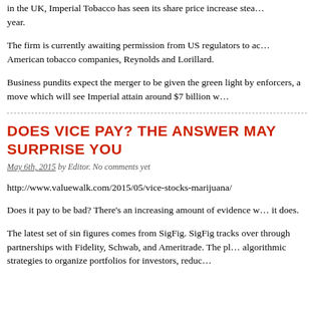in the UK, Imperial Tobacco has seen its share price increase stea... year.
The firm is currently awaiting permission from US regulators to ac... American tobacco companies, Reynolds and Lorillard.
Business pundits expect the merger to be given the green light by enforcers, a move which will see Imperial attain around $7 billion w...
DOES VICE PAY? THE ANSWER MAY SURPRISE YOU
May 6th, 2015 by Editor. No comments yet
http://www.valuewalk.com/2015/05/vice-stocks-marijuana/
Does it pay to be bad? There’s an increasing amount of evidence w... it does.
The latest set of sin figures comes from SigFig. SigFig tracks over through partnerships with Fidelity, Schwab, and Ameritrade. The pl... algorithmic strategies to organize portfolios for investors, reduc...